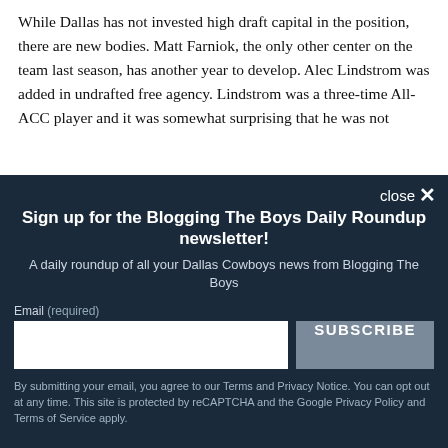While Dallas has not invested high draft capital in the position, there are new bodies. Matt Farniok, the only other center on the team last season, has another year to develop. Alec Lindstrom was added in undrafted free agency. Lindstrom was a three-time All-ACC player and it was somewhat surprising that he was not...
close ✕
Sign up for the Blogging The Boys Daily Roundup newsletter!
A daily roundup of all your Dallas Cowboys news from Blogging The Boys
Email (required)
SUBSCRIBE
By submitting your email, you agree to our Terms and Privacy Notice. You can opt out at any time. This site is protected by reCAPTCHA and the Google Privacy Policy and Terms of Service apply.